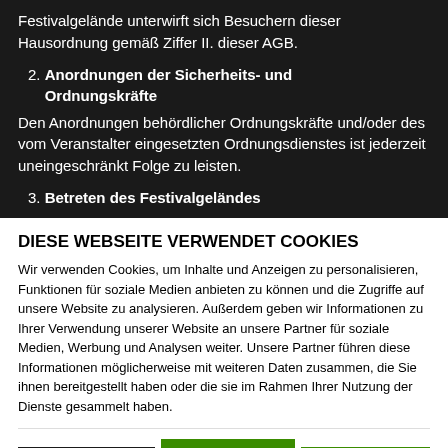Festivalgelände unterwirft sich Besuchern dieser Hausordnung gemäß Ziffer II. dieser AGB.
2. Anordnungen der Sicherheits- und Ordnungskräfte
Den Anordnungen behördlicher Ordnungskräfte und/oder des vom Veranstalter eingesetzten Ordnungsdienstes ist jederzeit uneingeschränkt Folge zu leisten.
3. Betreten des Festivalgeländes
DIESE WEBSEITE VERWENDET COOKIES
Wir verwenden Cookies, um Inhalte und Anzeigen zu personalisieren, Funktionen für soziale Medien anbieten zu können und die Zugriffe auf unsere Website zu analysieren. Außerdem geben wir Informationen zu Ihrer Verwendung unserer Website an unsere Partner für soziale Medien, Werbung und Analysen weiter. Unsere Partner führen diese Informationen möglicherweise mit weiteren Daten zusammen, die Sie ihnen bereitgestellt haben oder die sie im Rahmen Ihrer Nutzung der Dienste gesammelt haben.
Ablehnen | Auswahl erlauben | Alle zulassen
Notwendig | Präferenzen | Statistiken | Marketing | Details zeigen